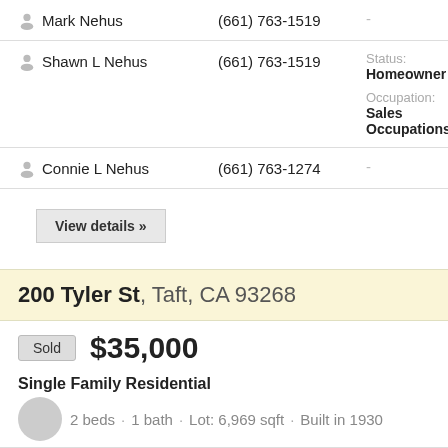Mark Nehus  (661) 763-1519  -
Shawn L Nehus  (661) 763-1519  Status: Homeowner  Occupation: Sales Occupations
Connie L Nehus  (661) 763-1274  -
View details »
200 Tyler St, Taft, CA 93268
Sold  $35,000
Single Family Residential
2 beds · 1 bath · Lot: 6,969 sqft · Built in 1930
RESIDENT NAME  PHONE  MORE INFORMATION